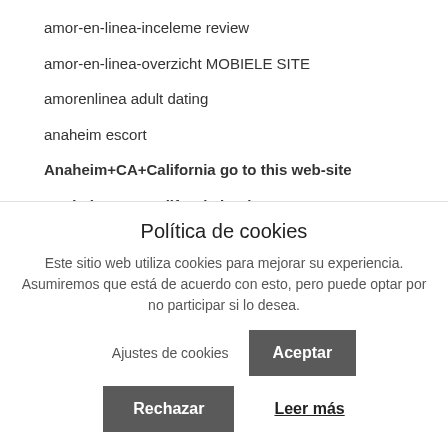amor-en-linea-inceleme review
amor-en-linea-overzicht MOBIELE SITE
amorenlinea adult dating
anaheim escort
Anaheim+CA+California go to this web-site
Anaheim+CA+California hookup
Anaheim+CA+California hookup sites
anastasiadate fr reviews
anastasiadate kosten
Política de cookies
Este sitio web utiliza cookies para mejorar su experiencia. Asumiremos que está de acuerdo con esto, pero puede optar por no participar si lo desea.
Ajustes de cookies
Aceptar
Rechazar
Leer más